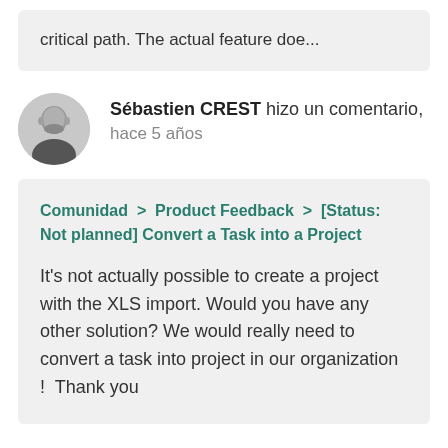critical path. The actual feature doe...
Sébastien CREST hizo un comentario, hace 5 años
[Figure (photo): Profile photo of Sébastien CREST, a man in black and white headshot, shown as a circular avatar]
Comunidad > Product Feedback > [Status: Not planned] Convert a Task into a Project

It's not actually possible to create a project with the XLS import. Would you have any other solution? We would really need to convert a task into project in our organization ! Thank you